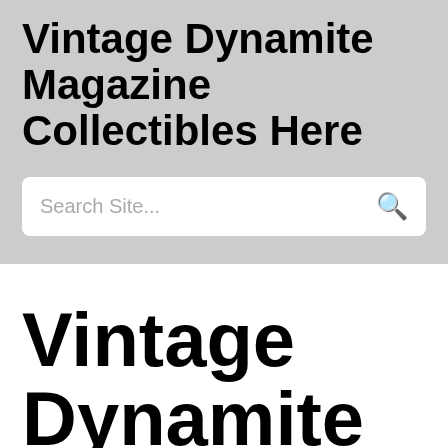Vintage Dynamite Magazine Collectibles Here
Search Site...
Vintage Dynamite